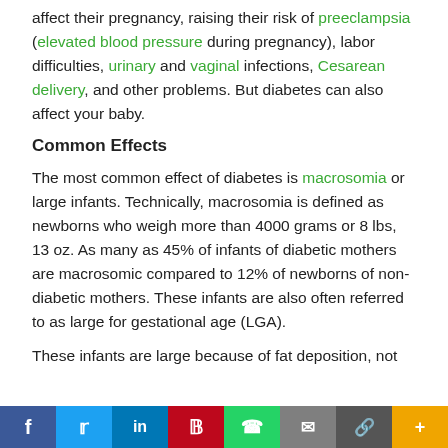affect their pregnancy, raising their risk of preeclampsia (elevated blood pressure during pregnancy), labor difficulties, urinary and vaginal infections, Cesarean delivery, and other problems. But diabetes can also affect your baby.
Common Effects
The most common effect of diabetes is macrosomia or large infants. Technically, macrosomia is defined as newborns who weigh more than 4000 grams or 8 lbs, 13 oz. As many as 45% of infants of diabetic mothers are macrosomic compared to 12% of newborns of non-diabetic mothers. These infants are also often referred to as large for gestational age (LGA).
These infants are large because of fat deposition, not